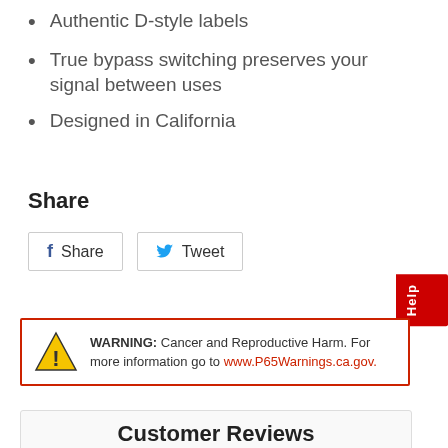Authentic D-style labels
True bypass switching preserves your signal between uses
Designed in California
Share
Share   Tweet
WARNING: Cancer and Reproductive Harm. For more information go to www.P65Warnings.ca.gov.
Customer Reviews